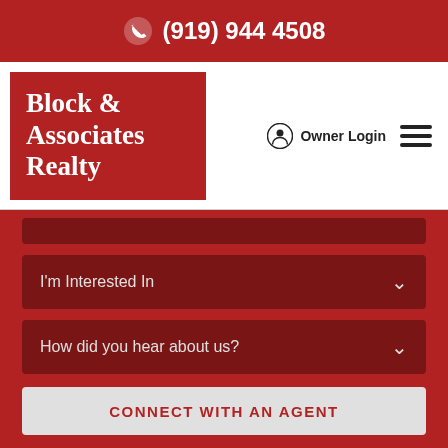(919) 944 4508
[Figure (logo): Block & Associates Realty logo — white serif text on dark red background]
Owner Login
I'm Interested In
How did you hear about us?
CONNECT WITH AN AGENT